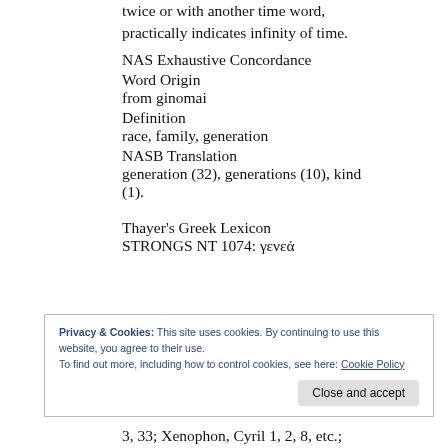twice or with another time word, practically indicates infinity of time.
NAS Exhaustive Concordance
Word Origin
from ginomai
Definition
race, family, generation
NASB Translation
generation (32), generations (10), kind (1).
Thayer's Greek Lexicon
STRONGS NT 1074: γενεά
Privacy & Cookies: This site uses cookies. By continuing to use this website, you agree to their use.
To find out more, including how to control cookies, see here: Cookie Policy
3, 33; Xenophon, Cyril 1, 2, 8, etc.;